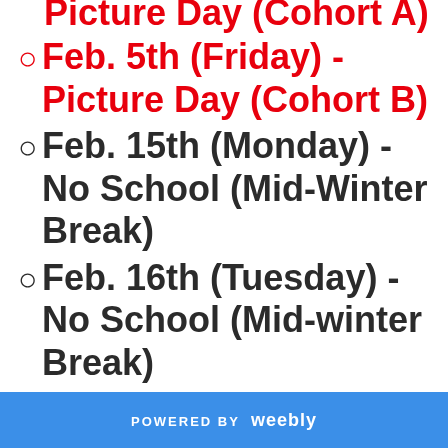Feb. 5th (Friday) - Picture Day (Cohort A)
Feb. 5th (Friday) - Picture Day (Cohort B)
Feb. 15th (Monday) - No School (Mid-Winter Break)
Feb. 16th (Tuesday) - No School (Mid-winter Break)
POWERED BY weebly